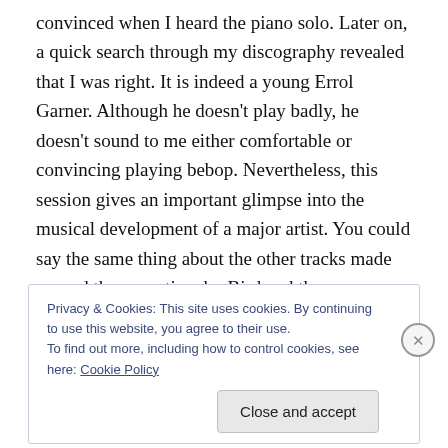convinced when I heard the piano solo. Later on, a quick search through my discography revealed that I was right. It is indeed a young Errol Garner. Although he doesn't play badly, he doesn't sound to me either comfortable or convincing playing bebop. Nevertheless, this session gives an important glimpse into the musical development of a major artist. You could say the same thing about the other tracks made around the same time by Bird and the young Miles Davis.
But that's enough words. The whole point about music is
Privacy & Cookies: This site uses cookies. By continuing to use this website, you agree to their use.
To find out more, including how to control cookies, see here: Cookie Policy